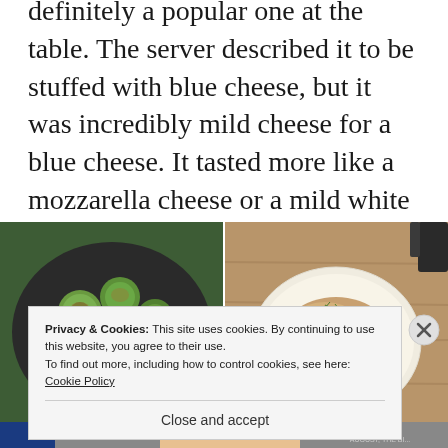definitely a popular one at the table. The server described it to be stuffed with blue cheese, but it was incredibly mild cheese for a blue cheese. It tasted more like a mozzarella cheese or a mild white cheese. Either way, this was delicious and I'd definitely order this if it's available.
[Figure (photo): Two food photos side by side: left shows roasted Brussels sprouts in a dark bowl, right shows a meat dish with garnish in a white bowl on a wooden table.]
Privacy & Cookies: This site uses cookies. By continuing to use this website, you agree to their use.
To find out more, including how to control cookies, see here: Cookie Policy
Close and accept